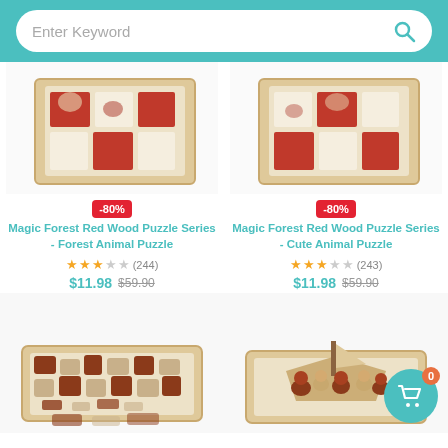Enter Keyword [search bar]
[Figure (photo): Wood puzzle tray with red animal puzzle pieces - Forest Animal Puzzle]
-80%
Magic Forest Red Wood Puzzle Series - Forest Animal Puzzle
★★★☆☆ (244)
$11.98 $59.90
[Figure (photo): Wood puzzle tray with red animal puzzle pieces - Cute Animal Puzzle]
-80%
Magic Forest Red Wood Puzzle Series - Cute Animal Puzzle
★★★☆☆ (243)
$11.98 $59.90
[Figure (photo): Wooden jigsaw puzzle pieces scattered in tray]
[Figure (photo): Wooden 3D animal puzzle pieces assembled showing boat and animal shapes]